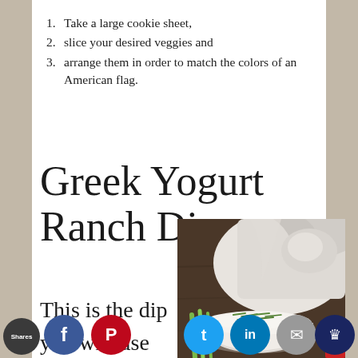1. Take a large cookie sheet,
2. slice your desired veggies and
3. arrange them in order to match the colors of an American flag.
Greek Yogurt Ranch Dip
This is the dip you will use for the
[Figure (photo): A white bowl of Greek yogurt ranch dip topped with chopped chives, with celery sticks and a white cloth napkin on a dark wooden surface]